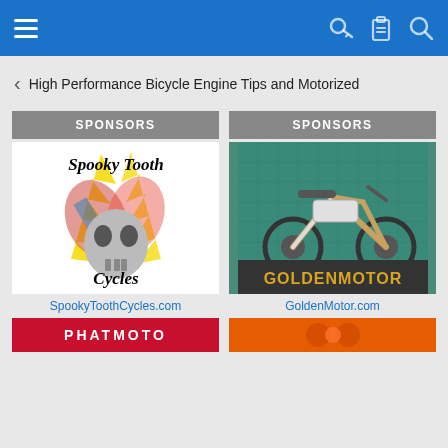Navigation bar with hamburger menu, key icon, clipboard icon, search icon
< High Performance Bicycle Engine Tips and Motorized
SPONSORS
[Figure (illustration): Spooky Tooth Cycles logo: stylized skull with colorful explosion graphic, text 'Spooky Tooth Cycles']
SpookyToothCycles.com
[Figure (photo): GoldenMotor: electric bicycle photo against teal wall, with GOLDENMOTOR branding]
GoldenMotor.com
[Figure (logo): PHATMOTO red banner logo]
[Figure (illustration): Orange banner with partial logo visible]